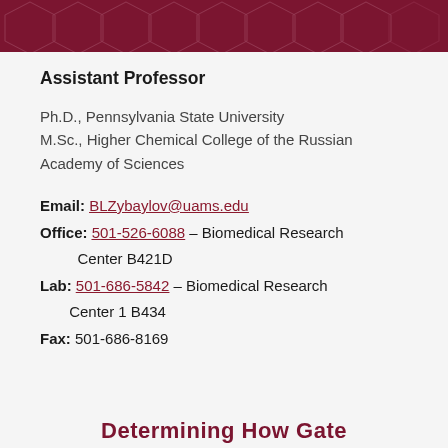Assistant Professor
Ph.D., Pennsylvania State University
M.Sc., Higher Chemical College of the Russian Academy of Sciences
Email: BLZybaylov@uams.edu
Office: 501-526-6088 – Biomedical Research Center B421D
Lab: 501-686-5842 – Biomedical Research Center 1 B434
Fax: 501-686-8169
Determining How Gate